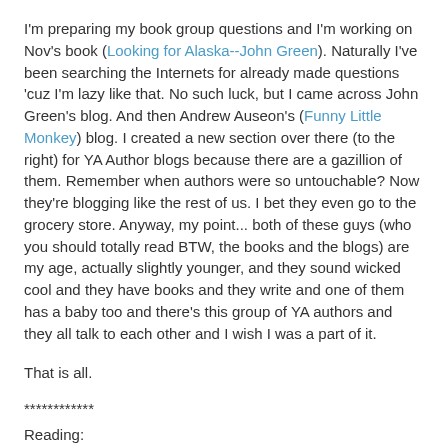I'm preparing my book group questions and I'm working on Nov's book (Looking for Alaska--John Green). Naturally I've been searching the Internets for already made questions 'cuz I'm lazy like that. No such luck, but I came across John Green's blog. And then Andrew Auseon's (Funny Little Monkey) blog. I created a new section over there (to the right) for YA Author blogs because there are a gazillion of them. Remember when authors were so untouchable? Now they're blogging like the rest of us. I bet they even go to the grocery store. Anyway, my point... both of these guys (who you should totally read BTW, the books and the blogs) are my age, actually slightly younger, and they sound wicked cool and they have books and they write and one of them has a baby too and there's this group of YA authors and they all talk to each other and I wish I was a part of it.
That is all.
************
Reading:
On My Nightstand: